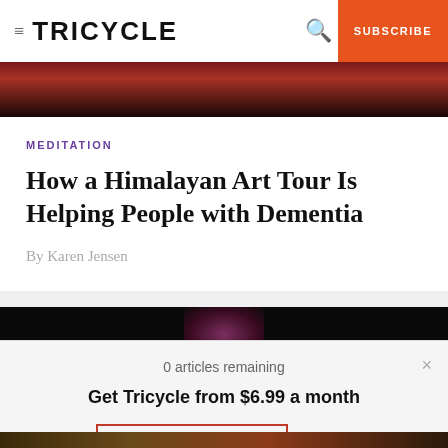TRICYCLE | SUBSCRIBE
[Figure (photo): Dark red/crimson toned photograph at top of article page]
MEDITATION
How a Himalayan Art Tour Is Helping People with Dementia
By Karen Jensen
[Figure (photo): Dark photograph with faint purple/magenta light in center]
0 articles remaining
Get Tricycle from $6.99 a month
SUBSCRIBE NOW
Log In
[Figure (photo): Dark colorful photograph strip at bottom of page]